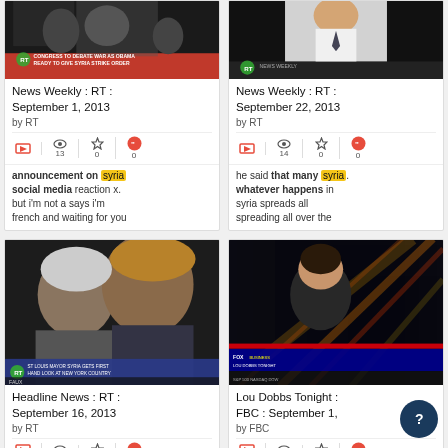[Figure (screenshot): Video thumbnail from RT showing 'CONGRESS TO DEBATE WAR AS OBAMA READY TO GIVE SYRIA STRIKE ORDER' chyron]
News Weekly : RT : September 1, 2013
by RT
13  0  0
announcement on syria social media reaction x. but i'm not a says i'm french and waiting for you
[Figure (screenshot): Video thumbnail from RT showing a news presenter in white shirt and tie]
News Weekly : RT : September 22, 2013
by RT
14  0  0
he said that many syria . whatever happens in syria spreads all spreading all over the
[Figure (screenshot): Video thumbnail from RT showing 'ST LOUIS MAYOR SYRIA GETS FIRST HAND LOOK AT NEW YORK COUNTRY' chyron with two men]
Headline News : RT : September 16, 2013
by RT
[Figure (screenshot): Video thumbnail from Fox Business showing a female news anchor with colorful light streaks in background]
Lou Dobbs Tonight : FBC : September 1,
by FBC